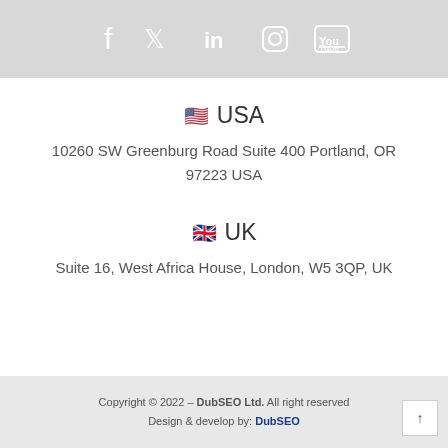[Figure (other): Social media icons bar: Facebook, Twitter, LinkedIn, Instagram, YouTube icons on grey background]
🇺🇸 USA
10260 SW Greenburg Road Suite 400 Portland, OR 97223 USA
🇬🇧 UK
Suite 16, West Africa House, London, W5 3QP, UK
Copyright © 2022 – DubSEO Ltd. All right reserved
Design & develop by: DubSEO